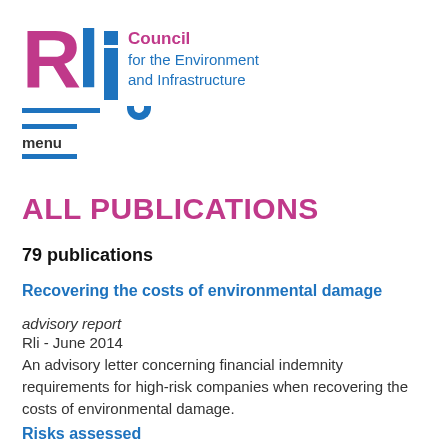[Figure (logo): RLi Council for the Environment and Infrastructure logo with pink R, blue L and i letters, blue underline and cup decoration, with council name in pink and blue text]
menu
ALL PUBLICATIONS
79 publications
Recovering the costs of environmental damage
advisory report
Rli - June 2014
An advisory letter concerning financial indemnity requirements for high-risk companies when recovering the costs of environmental damage.
Risks assessed